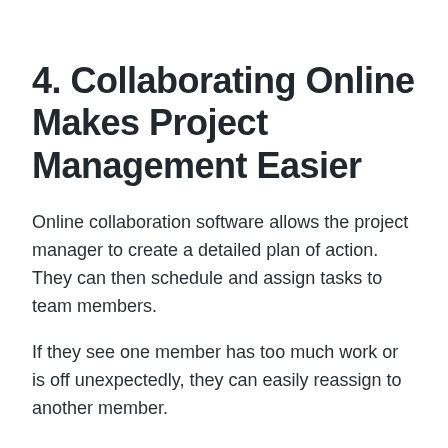4. Collaborating Online Makes Project Management Easier
Online collaboration software allows the project manager to create a detailed plan of action. They can then schedule and assign tasks to team members.
If they see one member has too much work or is off unexpectedly, they can easily reassign to another member.